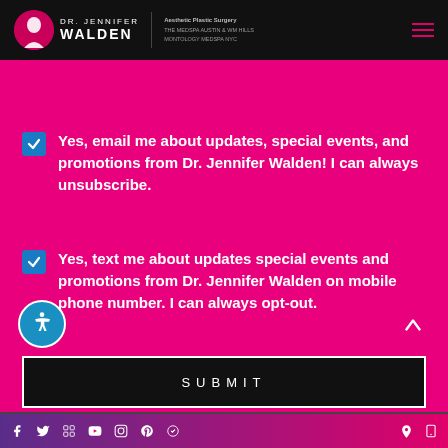[Figure (logo): Dr. Jennifer Walden Aesthetic Plastic Surgery logo with pink circle and profile silhouette, white text on black header bar]
Yes, email me about updates, special events, and promotions from Dr. Jennifer Walden! I can always unsubscribe.
Yes, text me about updates special events and promotions from Dr. Jennifer Walden on mobile phone number. I can always opt-out.
SUBMIT
Social media icons: Facebook, Twitter, Google, YouTube, Instagram, Pinterest, Checkmark, Location, Mobile